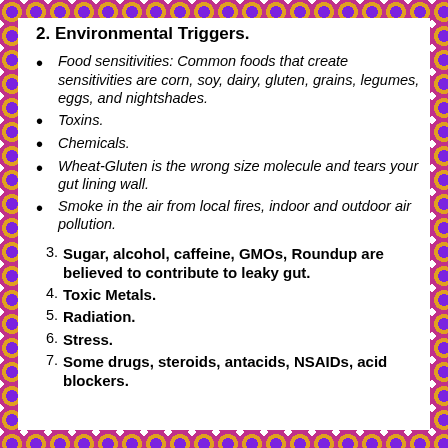2. Environmental Triggers.
Food sensitivities: Common foods that create sensitivities are corn, soy, dairy, gluten, grains, legumes, eggs, and nightshades.
Toxins.
Chemicals.
Wheat-Gluten is the wrong size molecule and tears your gut lining wall.
Smoke in the air from local fires, indoor and outdoor air pollution.
3. Sugar, alcohol, caffeine, GMOs, Roundup are believed to contribute to leaky gut.
4. Toxic Metals.
5. Radiation.
6. Stress.
7. Some drugs, steroids, antacids, NSAIDs, acid blockers.